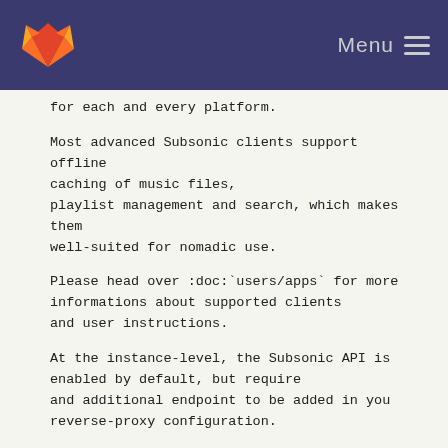Menu
for each and every platform.
Most advanced Subsonic clients support offline caching of music files,
playlist management and search, which makes them well-suited for nomadic use.
Please head over :doc:`users/apps` for more informations about supported clients and user instructions.
At the instance-level, the Subsonic API is enabled by default, but require and additional endpoint to be added in you reverse-proxy configuration.
On nginx, add the following block::
location /rest/ {
    include /etc/nginx/funkwhale_proxy.conf;
    proxy pass   http://funkwhale-